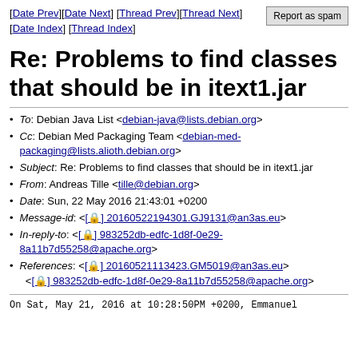[Date Prev][Date Next] [Thread Prev][Thread Next] [Date Index] [Thread Index]   Report as spam
Re: Problems to find classes that should be in itext1.jar
To: Debian Java List <debian-java@lists.debian.org>
Cc: Debian Med Packaging Team <debian-med-packaging@lists.alioth.debian.org>
Subject: Re: Problems to find classes that should be in itext1.jar
From: Andreas Tille <tille@debian.org>
Date: Sun, 22 May 2016 21:43:01 +0200
Message-id: <[🔒] 20160522194301.GJ9131@an3as.eu>
In-reply-to: <[🔒] 983252db-edfc-1d8f-0e29-8a11b7d55258@apache.org>
References: <[🔒] 20160521113423.GM5019@an3as.eu> <[🔒] 983252db-edfc-1d8f-0e29-8a11b7d55258@apache.org>
On Sat, May 21, 2016 at 10:28:50PM +0200, Emmanuel